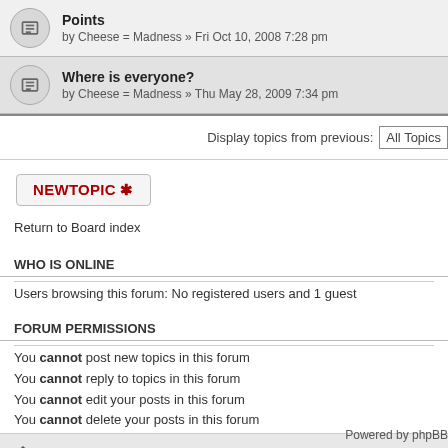Points by Cheese = Madness » Fri Oct 10, 2008 7:28 pm
Where is everyone? by Cheese = Madness » Thu May 28, 2009 7:34 pm
Display topics from previous: All Topics
NEWTOPIC *
Return to Board index
WHO IS ONLINE
Users browsing this forum: No registered users and 1 guest
FORUM PERMISSIONS
You cannot post new topics in this forum
You cannot reply to topics in this forum
You cannot edit your posts in this forum
You cannot delete your posts in this forum
Board index
Powered by phpBB